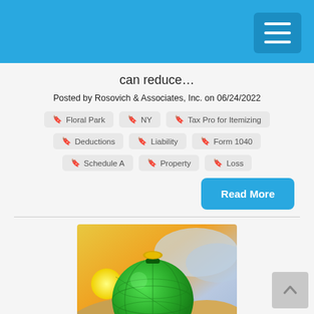can reduce…
Posted by Rosovich & Associates, Inc. on 06/24/2022
Floral Park
NY
Tax Pro for Itemizing
Deductions
Liability
Form 1040
Schedule A
Property
Loss
Read More
[Figure (illustration): A green globe-shaped piggy bank with a coin slot on top and a gold coin being inserted, surrounded by gold coins on a sandy surface with a sunset background.]